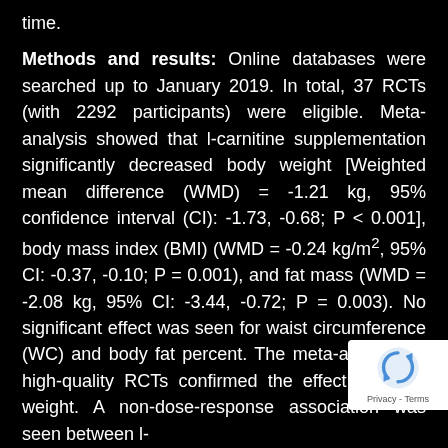time.
Methods and results: Online databases were searched up to January 2019. In total, 37 RCTs (with 2292 participants) were eligible. Meta-analysis showed that l-carnitine supplementation significantly decreased body weight [Weighted mean difference (WMD) = -1.21 kg, 95% confidence interval (CI): -1.73, -0.68; P < 0.001], body mass index (BMI) (WMD = -0.24 kg/m², 95% CI: -0.37, -0.10; P = 0.001), and fat mass (WMD = -2.08 kg, 95% CI: -3.44, -0.72; P = 0.003). No significant effect was seen for waist circumference (WC) and body fat percent. The meta-analysis of high-quality RCTs confirmed the effect on body weight. A non-dose-response association was seen between l-